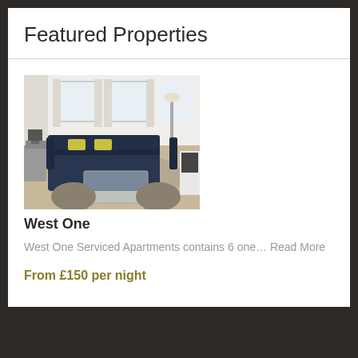Featured Properties
[Figure (photo): Interior photo of a serviced apartment living room with dark sofa, glass coffee table, and bright windows]
West One
West One Serviced Apartments contains 6 one... Read More
From £150 per night